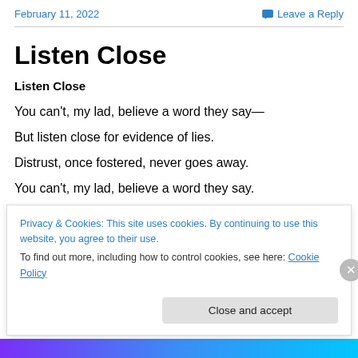February 11, 2022    💬 Leave a Reply
Listen Close
Listen Close
You can't, my lad, believe a word they say—
But listen close for evidence of lies.
Distrust, once fostered, never goes away.
You can't, my lad, believe a word they say.
Serious are the games they opt to play.
Privacy & Cookies: This site uses cookies. By continuing to use this website, you agree to their use. To find out more, including how to control cookies, see here: Cookie Policy